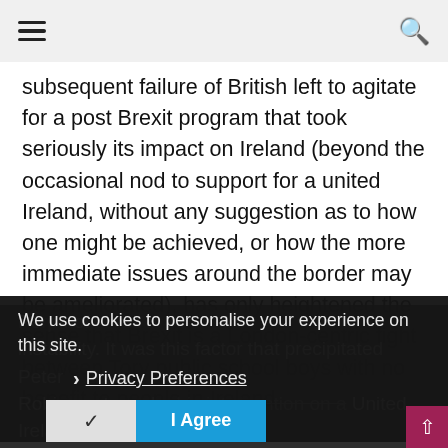hamburger menu | search icon
subsequent failure of British left to agitate for a post Brexit program that took seriously its impact on Ireland (beyond the occasional nod to support for a united Ireland, without any suggestion as to how one might be achieved, or how the more immediate issues around the border may be ameliorated), has only heightened the sense that Brexit is a London-centric fight between Tory public school boys with no benefit to people in Ireland.
We use cookies to personalise your experience on this site.
Privacy Preferences
I Agree
Pe...of instability. It was this factor that precipitated Peter Robinson to make his intervention on a United Ireland. As he said in his speech...one views the Brexit process it has been disruptive, distracting and –